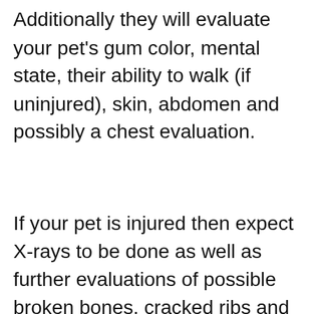Additionally they will evaluate your pet's gum color, mental state, their ability to walk (if uninjured), skin, abdomen and possibly a chest evaluation.
If your pet is injured then expect X-rays to be done as well as further evaluations of possible broken bones, cracked ribs and signs of pain or bleeding.
[Figure (screenshot): Advertisement for cookies for kids cancer showing hands holding a heart-shaped cookie on a green background with 'YOUR' text and the cookies for kids cancer logo]
[Figure (screenshot): Bottom banner advertisement: orange section reading '43 CHILDREN A Day Are Diagnosed With Cancer in the U.S.' with Cookies for Kids Cancer logo and 'Let's Get Baking' button]